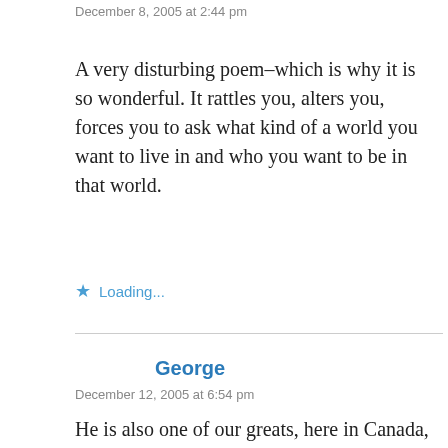December 8, 2005 at 2:44 pm
A very disturbing poem–which is why it is so wonderful. It rattles you, alters you, forces you to ask what kind of a world you want to live in and who you want to be in that world.
Loading...
George
December 12, 2005 at 6:54 pm
He is also one of our greats, here in Canada, and I find it reassuring that you were drawn to him, despite it all. For some reason, with